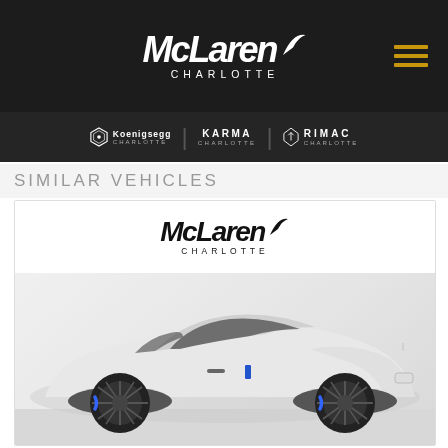[Figure (logo): McLaren Charlotte dealership website header with McLaren logo, CHARLOTTE text, hamburger menu icon in gold, and sub-brand logos: Koenigsegg Charlotte, Karma Charlotte, Rimac Charlotte on dark background]
SIMILAR VEHICLES
[Figure (photo): White Rolls-Royce Wraith coupe with custom black multi-spoke wheels and blue brake calipers, parked in a studio/showroom setting. McLaren Charlotte logo overlaid at top of image.]